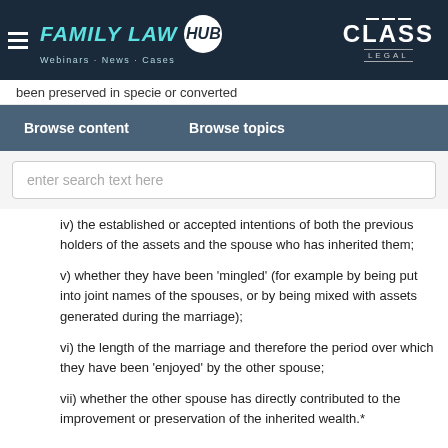FAMILY LAW HUB — Webinars · News · Cases | CLASS LEGAL
been preserved in specie or converted
Browse content   Browse topics
enter search text here
iv) the established or accepted intentions of both the previous holders of the assets and the spouse who has inherited them;
v) whether they have been 'mingled' (for example by being put into joint names of the spouses, or by being mixed with assets generated during the marriage);
vi) the length of the marriage and therefore the period over which they have been 'enjoyed' by the other spouse;
vii) whether the other spouse has directly contributed to the improvement or preservation of the inherited wealth.*